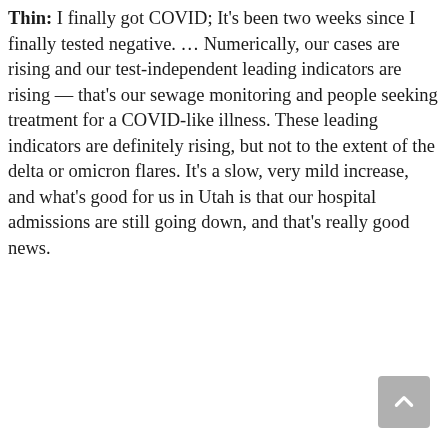Thin: I finally got COVID; It's been two weeks since I finally tested negative. … Numerically, our cases are rising and our test-independent leading indicators are rising — that's our sewage monitoring and people seeking treatment for a COVID-like illness. These leading indicators are definitely rising, but not to the extent of the delta or omicron flares. It's a slow, very mild increase, and what's good for us in Utah is that our hospital admissions are still going down, and that's really good news.